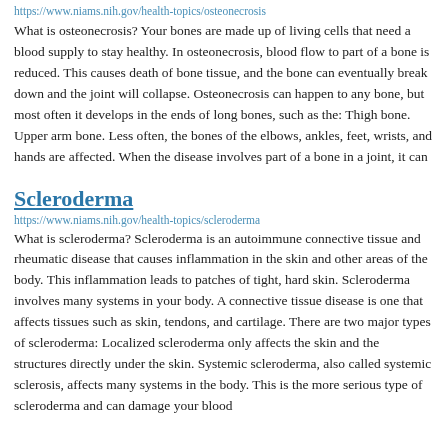https://www.niams.nih.gov/health-topics/osteonecrosis
What is osteonecrosis? Your bones are made up of living cells that need a blood supply to stay healthy. In osteonecrosis, blood flow to part of a bone is reduced. This causes death of bone tissue, and the bone can eventually break down and the joint will collapse. Osteonecrosis can happen to any bone, but most often it develops in the ends of long bones, such as the: Thigh bone. Upper arm bone. Less often, the bones of the elbows, ankles, feet, wrists, and hands are affected. When the disease involves part of a bone in a joint, it can
Scleroderma
https://www.niams.nih.gov/health-topics/scleroderma
What is scleroderma? Scleroderma is an autoimmune connective tissue and rheumatic disease that causes inflammation in the skin and other areas of the body. This inflammation leads to patches of tight, hard skin. Scleroderma involves many systems in your body. A connective tissue disease is one that affects tissues such as skin, tendons, and cartilage. There are two major types of scleroderma: Localized scleroderma only affects the skin and the structures directly under the skin. Systemic scleroderma, also called systemic sclerosis, affects many systems in the body. This is the more serious type of scleroderma and can damage your blood